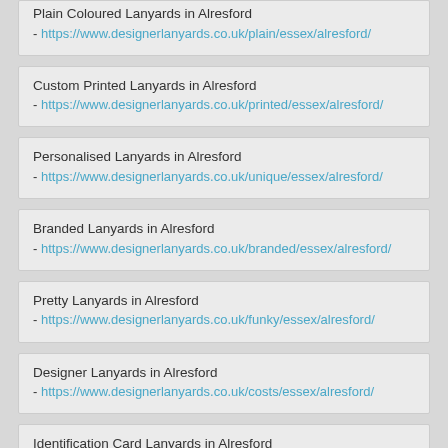Plain Coloured Lanyards in Alresford - https://www.designerlanyards.co.uk/plain/essex/alresford/
Custom Printed Lanyards in Alresford - https://www.designerlanyards.co.uk/printed/essex/alresford/
Personalised Lanyards in Alresford - https://www.designerlanyards.co.uk/unique/essex/alresford/
Branded Lanyards in Alresford - https://www.designerlanyards.co.uk/branded/essex/alresford/
Pretty Lanyards in Alresford - https://www.designerlanyards.co.uk/funky/essex/alresford/
Designer Lanyards in Alresford - https://www.designerlanyards.co.uk/costs/essex/alresford/
Identification Card Lanyards in Alresford